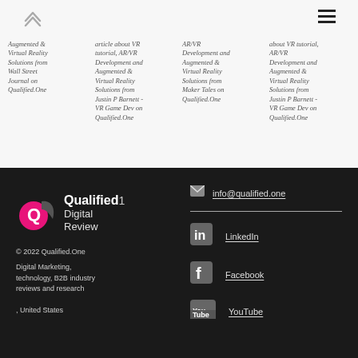[Figure (screenshot): Navigation up arrow chevron icon]
[Figure (screenshot): Hamburger menu icon (three horizontal lines)]
Augmented & Virtual Reality Solutions from Wall Street Journal on Qualified.One
article about VR tutorial, AR/VR Development and Augmented & Virtual Reality Solutions from Justin P Barnett - VR Game Dev on Qualified.One
AR/VR Development and Augmented & Virtual Reality Solutions from Maker Tales on Qualified.One
about VR tutorial, AR/VR Development and Augmented & Virtual Reality Solutions from Justin P Barnett - VR Game Dev on Qualified.One
[Figure (logo): Qualified.One Digital Review logo - pink circle with white Q text mark, white bold text Qualified and Digital Review]
info@qualified.one
LinkedIn
Facebook
YouTube
© 2022 Qualified.One
Digital Marketing, technology, B2B industry reviews and research
, United States